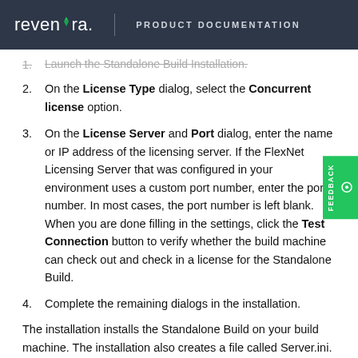revenera. PRODUCT DOCUMENTATION
1. Launch the Standalone Build Installation.
2. On the License Type dialog, select the Concurrent license option.
3. On the License Server and Port dialog, enter the name or IP address of the licensing server. If the FlexNet Licensing Server that was configured in your environment uses a custom port number, enter the port number. In most cases, the port number is left blank. When you are done filling in the settings, click the Test Connection button to verify whether the build machine can check out and check in a license for the Standalone Build.
4. Complete the remaining dialogs in the installation.
The installation installs the Standalone Build on your build machine. The installation also creates a file called Server.ini. This file is installed in the System